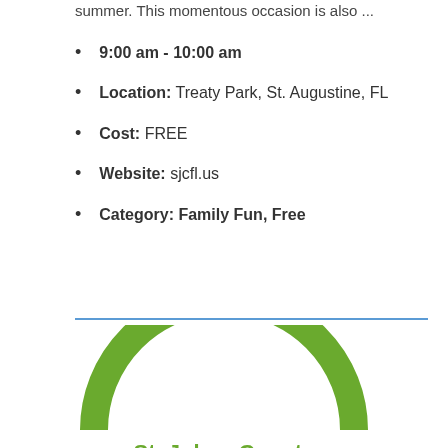summer. This momentous occasion is also ...
9:00 am - 10:00 am
Location: Treaty Park, St. Augustine, FL
Cost: FREE
Website: sjcfl.us
Category: Family Fun, Free
[Figure (logo): St. Johns County Public Library System logo with green arch and green/blue text]
St. Johns County Public Library System